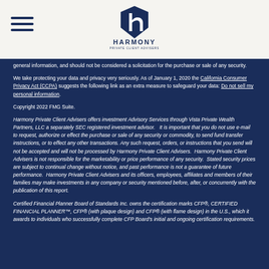[Figure (logo): Harmony Private Client Advisers logo with stylized 'h' and company name]
general information, and should not be considered a solicitation for the purchase or sale of any security.
We take protecting your data and privacy very seriously. As of January 1, 2020 the California Consumer Privacy Act (CCPA) suggests the following link as an extra measure to safeguard your data: Do not sell my personal information.
Copyright 2022 FMG Suite.
Harmony Private Client Advisers offers investment Advisory Services through Vista Private Wealth Partners, LLC a separately SEC registered investment advisor.   It is important that you do not use e-mail to request, authorize or effect the purchase or sale of any security or commodity, to send fund transfer instructions, or to effect any other transactions. Any such request, orders, or instructions that you send will not be accepted and will not be processed by Harmony Private Client Advisers.  Harmony Private Client Advisers is not responsible for the marketability or price performance of any security.  Stated security prices are subject to continual change without notice, and past performance is not a guarantee of future performance.  Harmony Private Client Advisers and its officers, employees, affiliates and members of their families may make investments in any company or security mentioned before, after, or concurrently with the publication of this report.
Certified Financial Planner Board of Standards Inc. owns the certification marks CFP®, CERTIFIED FINANCIAL PLANNER™, CFP® (with plaque design) and CFP® (with flame design) in the U.S., which it awards to individuals who successfully complete CFP Board's initial and ongoing certification requirements.